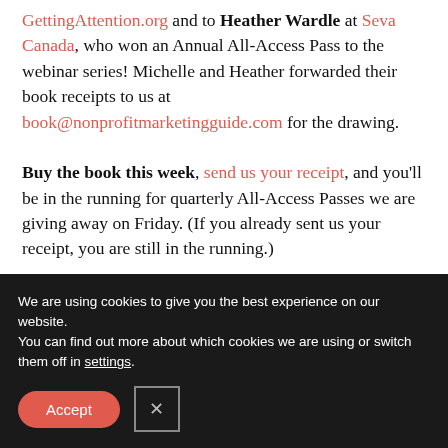GettingAttention.org and to Heather Wardle at Seva Canada, who won an Annual All-Access Pass to the webinar series! Michelle and Heather forwarded their book receipts to us at book@nonprofitmarketingguide.com for the drawing.

Buy the book this week, send us your receipt, and you'll be in the running for quarterly All-Access Passes we are giving away on Friday. (If you already sent us your receipt, you are still in the running.)
We are using cookies to give you the best experience on our website.
You can find out more about which cookies we are using or switch them off in settings.